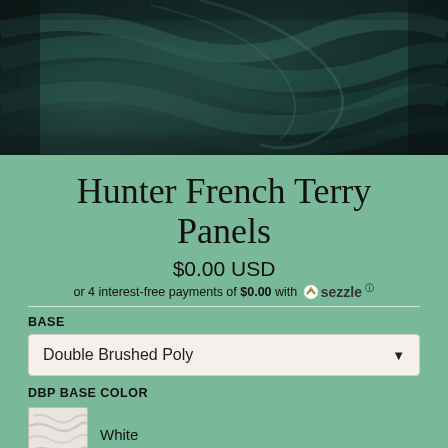[Figure (photo): Close-up of dark teal/hunter green draped fabric with swirling folds and texture]
Hunter French Terry Panels
$0.00 USD
or 4 interest-free payments of $0.00 with Sezzle
BASE
Double Brushed Poly
DBP BASE COLOR
White
Heathered Blush
USD